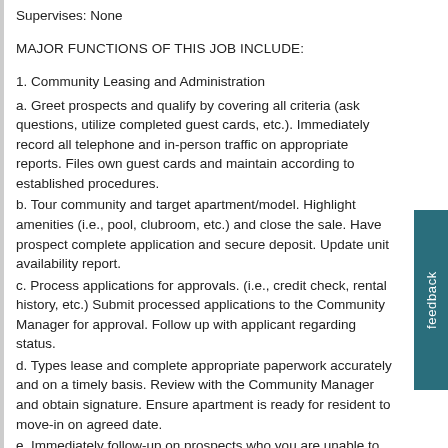Supervises: None
MAJOR FUNCTIONS OF THIS JOB INCLUDE:
1. Community Leasing and Administration
a. Greet prospects and qualify by covering all criteria (ask questions, utilize completed guest cards, etc.). Immediately record all telephone and in-person traffic on appropriate reports. Files own guest cards and maintain according to established procedures.
b. Tour community and target apartment/model. Highlight amenities (i.e., pool, clubroom, etc.) and close the sale. Have prospect complete application and secure deposit. Update unit availability report.
c. Process applications for approvals. (i.e., credit check, rental history, etc.) Submit processed applications to the Community Manager for approval. Follow up with applicant regarding status.
d. Types lease and complete appropriate paperwork accurately and on a timely basis. Review with the Community Manager and obtain signature. Ensure apartment is ready for resident to move-in on agreed date.
e. Immediately follow-up on prospects who you are unable to close (i.e., phone calls, “thank you” notes, etc.) and attempt to close sale again. If unable to help prospect,